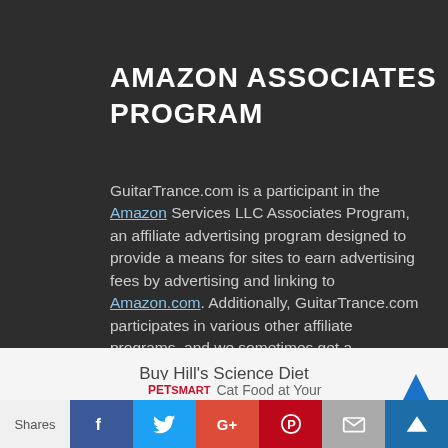AMAZON ASSOCIATES PROGRAM
GuitarTrance.com is a participant in the Amazon Services LLC Associates Program, an affiliate advertising program designed to provide a means for sites to earn advertising fees by advertising and linking to Amazon.com. Additionally, GuitarTrance.com participates in various other affiliate programs, and we sometimes get a commission through purchases made through our links.
[Figure (infographic): Advertisement bar showing Buy Hill's Science Diet Cat Food at Your PetSmart with logo and arrow icon]
[Figure (infographic): Social share bar with Shares label and buttons: Facebook, Twitter, Google+, Pinterest, Email, and crown/bookmark icon]